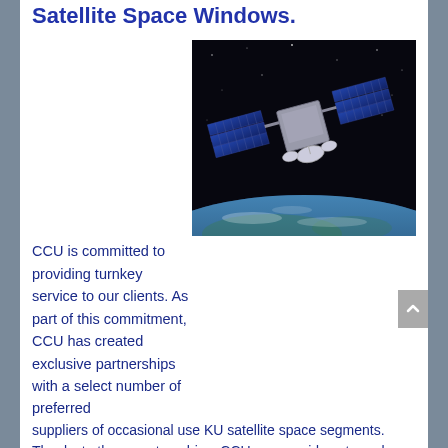Satellite Space Windows.
CCU is committed to providing turnkey service to our clients. As part of this commitment, CCU has created exclusive partnerships with a select number of preferred suppliers of occasional use KU satellite space segments. Thanks to these partnerships, CCU can provide extremely competitive rates on satellite space. 3,6,9 or 18 MHZ digital space on both full and half transponders can be procured in 15-minute increments with the added convenience of approximate window end-times to allow for flexibility in transmission services.
[Figure (photo): Photograph of a communications satellite in orbit above Earth, with large solar panels extended, against a black space background with Earth's surface visible below.]
CCU can provide satellite arrangements for urgent